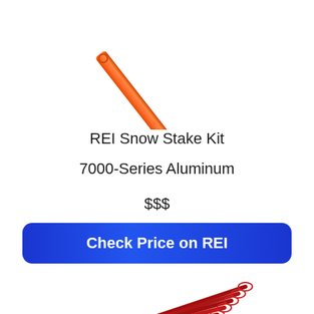[Figure (photo): Orange aluminum tent stake / snow stake angled diagonally, photographed on white background, top portion visible]
REI Snow Stake Kit
7000-Series Aluminum
$$$
Check Price on REI
[Figure (photo): Bundle of red aluminum snow stakes with red cord loops tied through holes at the top, fanned out, on white background]